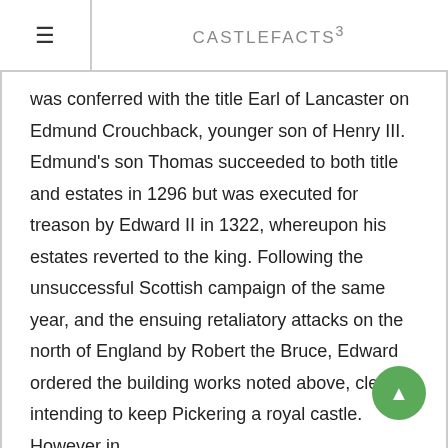CASTLEFACTS³
was conferred with the title Earl of Lancaster on Edmund Crouchback, younger son of Henry III. Edmund's son Thomas succeeded to both title and estates in 1296 but was executed for treason by Edward II in 1322, whereupon his estates reverted to the king. Following the unsuccessful Scottish campaign of the same year, and the ensuing retaliatory attacks on the north of England by Robert the Bruce, Edward ordered the building works noted above, clearly intending to keep Pickering a royal castle. However in